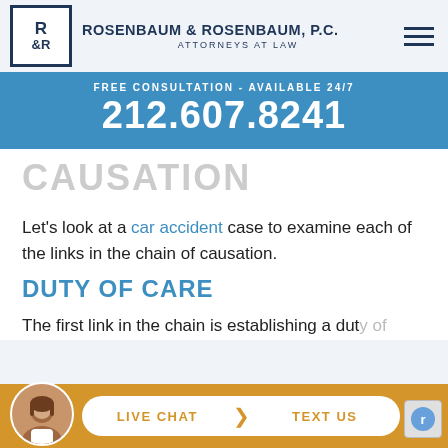Rosenbaum & Rosenbaum, P.C. — Attorneys at Law
[Figure (infographic): Blue banner with free consultation text and phone number 212.607.8241]
CAUSATION (partially visible)
Let's look at a car accident case to examine each of the links in the chain of causation.
DUTY OF CARE
The first link in the chain is establishing a duty of...